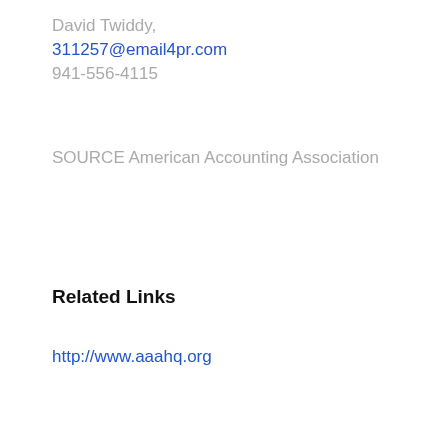David Twiddy,
311257@email4pr.com
941-556-4115
SOURCE American Accounting Association
Related Links
http://www.aaahq.org